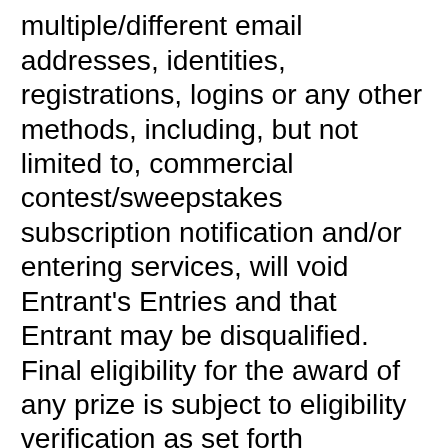multiple/different email addresses, identities, registrations, logins or any other methods, including, but not limited to, commercial contest/sweepstakes subscription notification and/or entering services, will void Entrant's Entries and that Entrant may be disqualified. Final eligibility for the award of any prize is subject to eligibility verification as set forth
[Figure (screenshot): Cookie consent banner overlay with red warning text, 'Do not sell my personal information.' text, and two buttons: 'Cookie Settings' (gray) and 'Accept' (green)]
y the end of rticipate. e official ner(s) of the random e Entries received throughout the Promotion Period